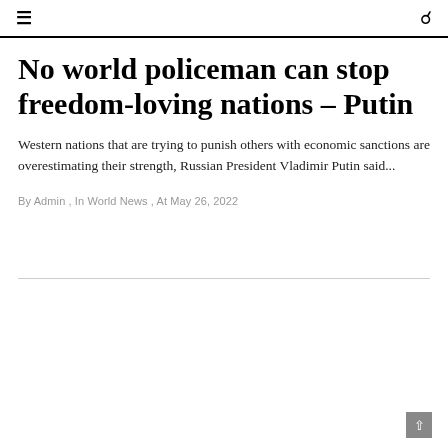≡  🔍
No world policeman can stop freedom-loving nations – Putin
Western nations that are trying to punish others with economic sanctions are overestimating their strength, Russian President Vladimir Putin said...
By Admin , In World News , At May 26, 2022